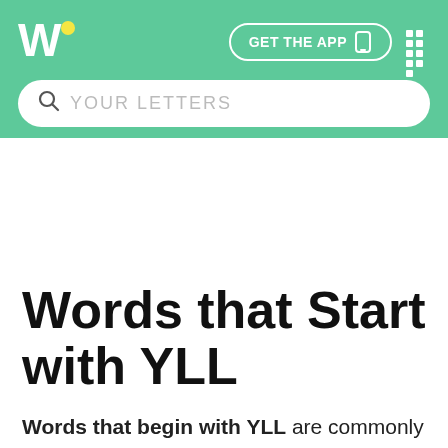Words With [logo] — GET THE APP
Words that Start with YLL
Words that begin with YLL are commonly used for word games like Scrabble and Words with Friends. This list will help you to find the top scoring words to beat the opponent. You can also find a list of all words that end in YLL and words with YLL. Try our five letter words starting with YLL